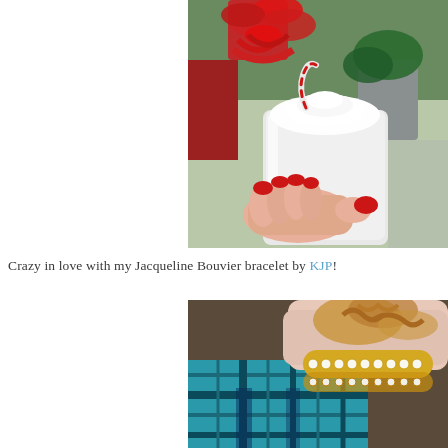[Figure (photo): A hand with red nail polish holding a white foam/styrofoam cup topped with whipped cream and a candy cane, with red ribbon bows and greenery in the blurred background.]
Crazy in love with my Jacqueline Bouvier bracelet by KJP!
[Figure (photo): Close-up of a wrist wearing a gold and pearl/crystal bracelet, with a teal and blue plaid shirt sleeve visible, and what appears to be pretzels or snack food in the background.]